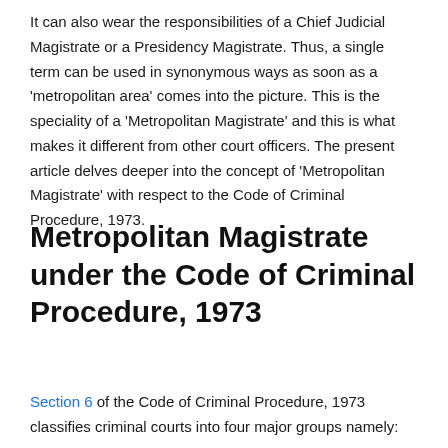It can also wear the responsibilities of a Chief Judicial Magistrate or a Presidency Magistrate. Thus, a single term can be used in synonymous ways as soon as a 'metropolitan area' comes into the picture. This is the speciality of a 'Metropolitan Magistrate' and this is what makes it different from other court officers. The present article delves deeper into the concept of 'Metropolitan Magistrate' with respect to the Code of Criminal Procedure, 1973.
Metropolitan Magistrate under the Code of Criminal Procedure, 1973
Section 6 of the Code of Criminal Procedure, 1973 classifies criminal courts into four major groups namely: